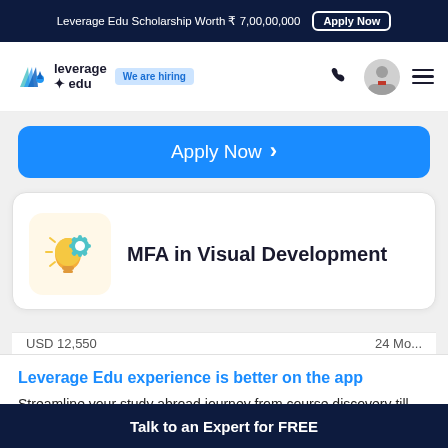Leverage Edu Scholarship Worth ₹ 7,00,00,000  Apply Now
[Figure (logo): Leverage Edu logo with rocket and book icon, 'leverage edu' wordmark, 'We are hiring' badge]
[Figure (infographic): Apply Now button bar (blue rounded rectangle with chevron)]
MFA in Visual Development
USD 12,550   24 Mo...
Leverage Edu experience is better on the app
Streamline your study abroad journey from course discovery till university admissions.
Talk to an Expert for FREE